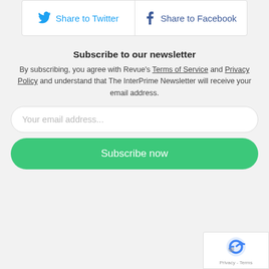[Figure (other): Two social share buttons: Share to Twitter (with Twitter bird icon) and Share to Facebook (with Facebook f icon)]
Subscribe to our newsletter
By subscribing, you agree with Revue's Terms of Service and Privacy Policy and understand that The InterPrime Newsletter will receive your email address.
Your email address...
Subscribe now
[Figure (other): reCAPTCHA badge showing Privacy - Terms]